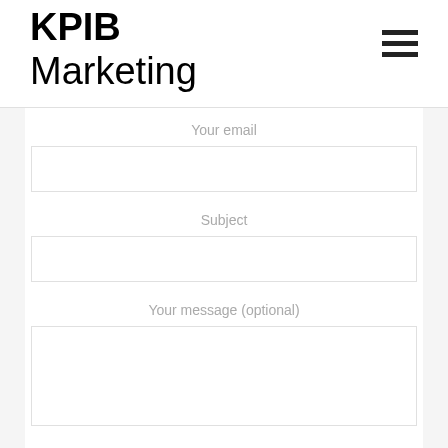KPIB Marketing
Your email
Subject
Your message (optional)